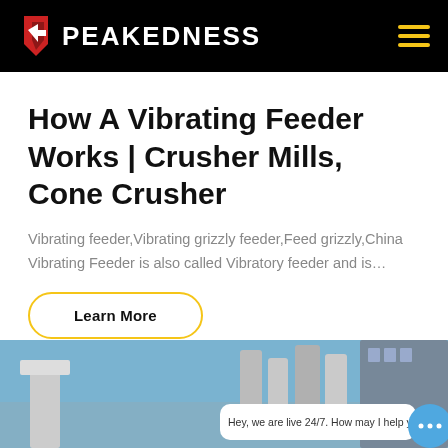PEAKEDNESS
How A Vibrating Feeder Works | Crusher Mills, Cone Crusher
Vibrating feeder,Vibrating grizzly feeder,Feed grizzly,China Vibrating Feeder is also called Vibratory feeder and is…
Learn More
[Figure (photo): Industrial facility with large metal silos and tanks against a blue sky; chat widget overlay with message: Hey, we are live 24/7. How may I help you?]